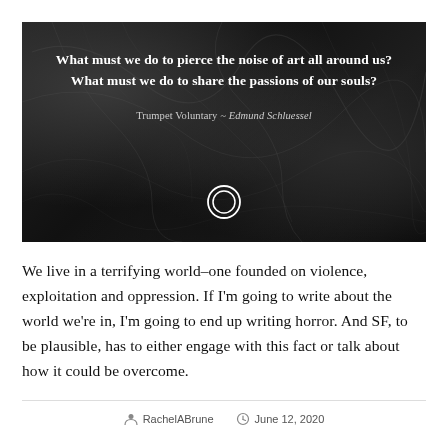[Figure (illustration): Dark marble-textured hero image with white bold quote text: 'What must we do to pierce the noise of art all around us? What must we do to share the passions of our souls?' and attribution 'Trumpet Voluntary ~ Edmund Schluessel', with a crescent moon icon at the bottom center.]
We live in a terrifying world–one founded on violence, exploitation and oppression. If I'm going to write about the world we're in, I'm going to end up writing horror. And SF, to be plausible, has to either engage with this fact or talk about how it could be overcome.
RachelABrune   June 12, 2020